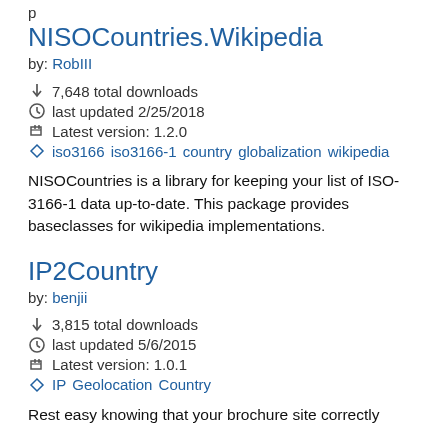NISOCountries.Wikipedia
by: RobIII
7,648 total downloads
last updated 2/25/2018
Latest version: 1.2.0
iso3166 iso3166-1 country globalization wikipedia
NISOCountries is a library for keeping your list of ISO-3166-1 data up-to-date. This package provides baseclasses for wikipedia implementations.
IP2Country
by: benjii
3,815 total downloads
last updated 5/6/2015
Latest version: 1.0.1
IP Geolocation Country
Rest easy knowing that your brochure site correctly